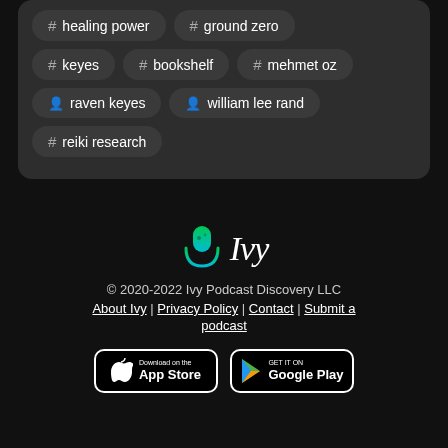# healing power
# ground zero
# keyes
# bookshelf
# mehmet oz
person raven keyes
person william lee rand
# reiki research
[Figure (logo): Ivy Podcast Discovery logo — microphone icon in green/blue gradient with text 'Ivy' in italic white]
© 2020-2022 Ivy Podcast Discovery LLC
About Ivy | Privacy Policy | Contact | Submit a podcast
[Figure (other): Download on the App Store button]
[Figure (other): Get it on Google Play button]